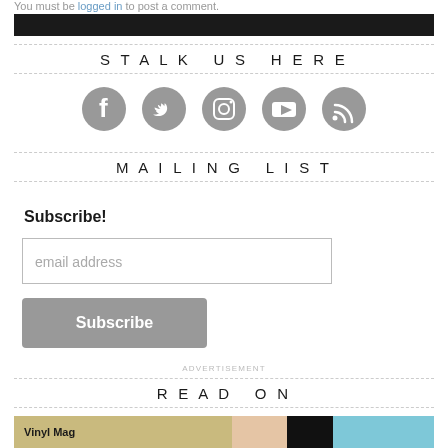You must be logged in to post a comment.
STALK US HERE
[Figure (other): Five social media icons: Facebook, Twitter, Instagram, YouTube, RSS]
MAILING LIST
Subscribe!
email address
Subscribe
ADVERTISEMENT
READ ON
[Figure (photo): Partial image with Vinyl Mag label visible at bottom left]